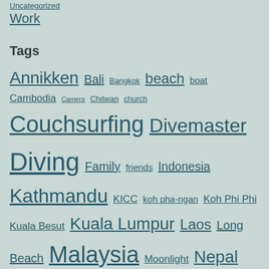Uncategorized
Work
Tags
Annikken Bali Bangkok beach boat Cambodia Camera Chitwan church Couchsurfing Divemaster Diving Family friends Indonesia Kathmandu KICC koh pha-ngan Koh Phi Phi Kuala Besut Kuala Lumpur Laos Long Beach Malaysia Moonlight Nepal Norway oslo party Perhentian pool Saigon Sanur scuba scuba diving Sleeper Bus snorkeling Sunlight Thailand Tibet train Vietnam visa WiFi Work